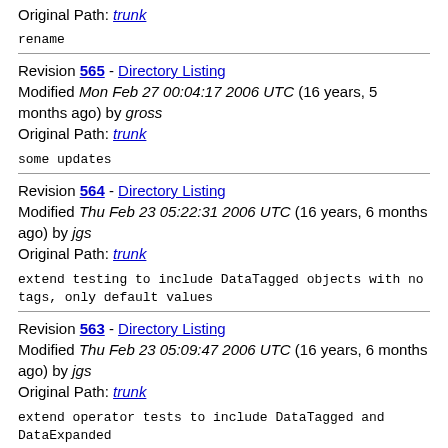Original Path: trunk
rename
Revision 565 - Directory Listing
Modified Mon Feb 27 00:04:17 2006 UTC (16 years, 5 months ago) by gross
Original Path: trunk
some updates
Revision 564 - Directory Listing
Modified Thu Feb 23 05:22:31 2006 UTC (16 years, 6 months ago) by jgs
Original Path: trunk
extend testing to include DataTagged objects with no tags, only default values
Revision 563 - Directory Listing
Modified Thu Feb 23 05:09:47 2006 UTC (16 years, 6 months ago) by jgs
Original Path: trunk
extend operator tests to include DataTagged and DataExpanded